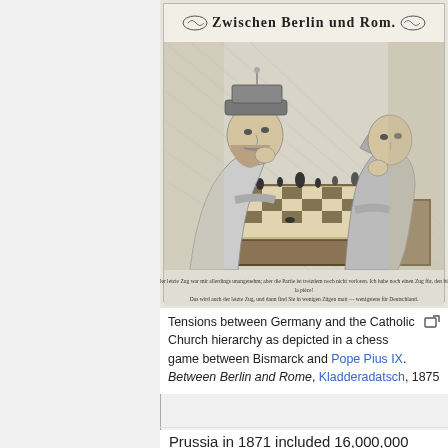[Figure (illustration): A satirical engraving titled 'Zwischen Berlin und Rom' (Between Berlin and Rome) showing two men playing chess across a table — one representing Bismarck, the other Pope Pius IX — depicting the Kulturkampf tensions between Germany and the Catholic Church. Published in Kladderadatsch, 1875.]
Tensions between Germany and the Catholic Church hierarchy as depicted in a chess game between Bismarck and Pope Pius IX. Between Berlin and Rome, Kladderadatsch, 1875
Prussia in 1871 included 16,000,000 Protestants, both Reformed and Lutheran, and 8,000,000 Catholics. Most people were generally segregated into their own religious worlds, living in rural